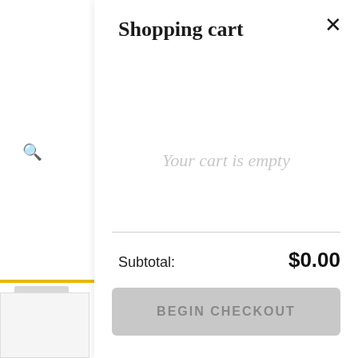Shopping cart
Your cart is empty
Subtotal:
$0.00
BEGIN CHECKOUT
Cultu
Joha